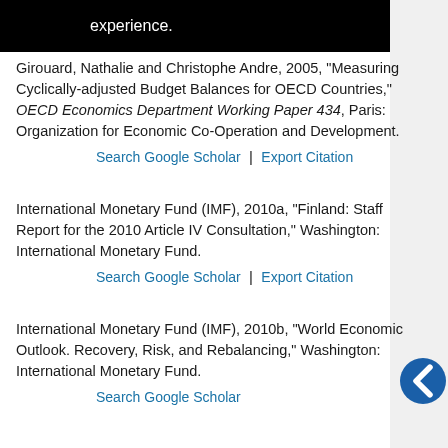[Figure (other): Black banner with white text 'experience.' visible at the top of the page]
Girouard, Nathalie and Christophe Andre, 2005, “Measuring Cyclically-adjusted Budget Balances for OECD Countries,” OECD Economics Department Working Paper 434, Paris: Organization for Economic Co-Operation and Development.
Search Google Scholar | Export Citation
International Monetary Fund (IMF), 2010a, “Finland: Staff Report for the 2010 Article IV Consultation,” Washington: International Monetary Fund.
Search Google Scholar | Export Citation
International Monetary Fund (IMF), 2010b, “World Economic Outlook. Recovery, Risk, and Rebalancing,” Washington: International Monetary Fund.
Search Google Scholar